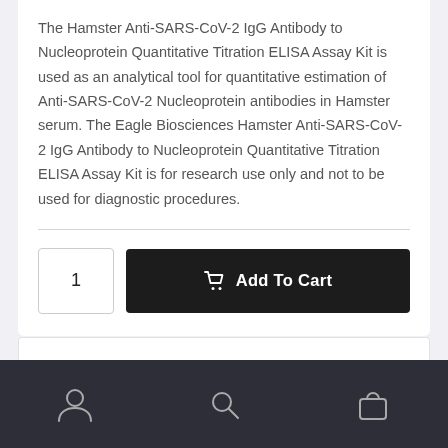The Hamster Anti-SARS-CoV-2 IgG Antibody to Nucleoprotein Quantitative Titration ELISA Assay Kit is used as an analytical tool for quantitative estimation of Anti-SARS-CoV-2 Nucleoprotein antibodies in Hamster serum. The Eagle Biosciences Hamster Anti-SARS-CoV-2 IgG Antibody to Nucleoprotein Quantitative Titration ELISA Assay Kit is for research use only and not to be used for diagnostic procedures.
1
Add To Cart
[Figure (other): Bottom navigation bar with three icons: person/account icon, search icon, and shopping bag icon, on a dark background.]